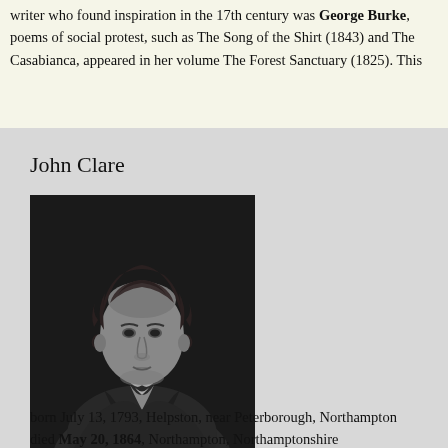writer who found inspiration in the 17th century was George Burke, poems of social protest, such as The Song of the Shirt (1843) and The Casabianca, appeared in her volume The Forest Sanctuary (1825). This
John Clare
[Figure (photo): Black and white portrait photograph/engraving of John Clare, a young man with curly hair, wearing a dark coat and cravat, shown in three-quarter view.]
born July 13, 1793, Helpston, near Peterborough, Northampton died May 20, 1864, Northampton, Northamptonshire